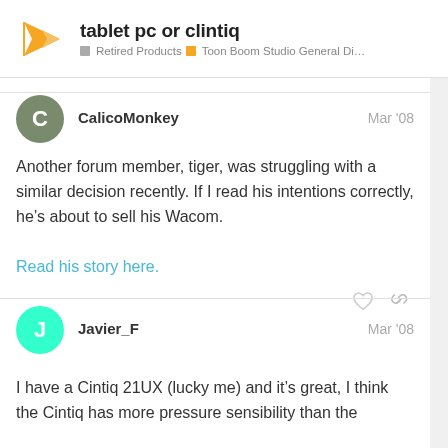tablet pc or clintiq — Retired Products > Toon Boom Studio General Discussion
Another forum member, tiger, was struggling with a similar decision recently. If I read his intentions correctly, he's about to sell his Wacom.
Read his story here.
I have a Cintiq 21UX (lucky me) and it's great, I think the Cintiq has more pressure sensibility than the tablet PC. Interestingly, I have tested the...